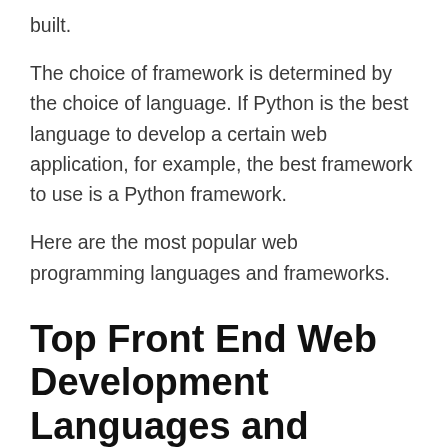built.
The choice of framework is determined by the choice of language. If Python is the best language to develop a certain web application, for example, the best framework to use is a Python framework.
Here are the most popular web programming languages and frameworks.
Top Front End Web Development Languages and